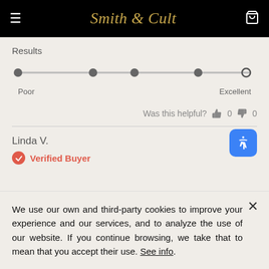Smith & Cult
Results
[Figure (other): Rating slider showing scale from Poor to Excellent with filled dots at approximately 0%, 25%, 50%, 75% positions and an open circle at approximately 95% (Excellent end)]
Was this helpful? 0 0
Linda V.
Verified Buyer
We use our own and third-party cookies to improve your experience and our services, and to analyze the use of our website. If you continue browsing, we take that to mean that you accept their use. See info.